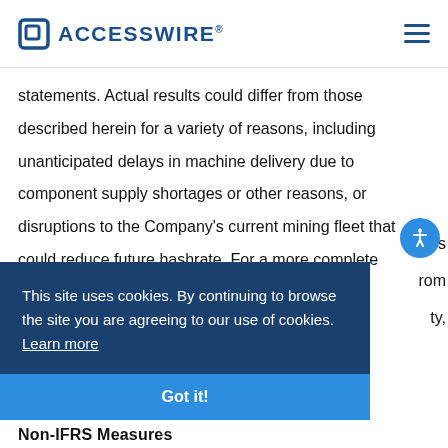ACCESSWIRE®
statements. Actual results could differ from those described herein for a variety of reasons, including unanticipated delays in machine delivery due to component supply shortages or other reasons, or disruptions to the Company's current mining fleet that could reduce future hashrate. For a more complete discussion of factors that
This site uses cookies. By continuing to browse the site you are agreeing to our use of cookies. Learn more
Got it!
Non-IFRS Measures